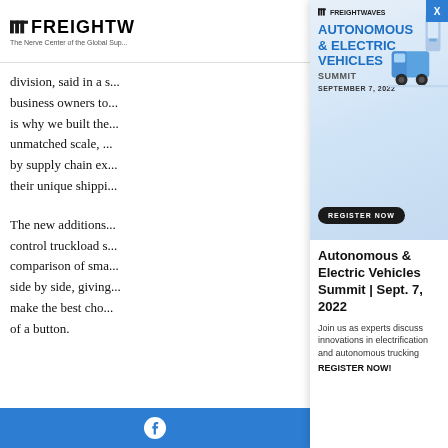FREIGHTWAVES — The Nerve Center of the Global Sup...
division, said in a s... business owners to... is why we built the... unmatched scale,... by supply chain ex... their unique shippi...
The new additions... control truckload s... comparison of sma... side by side, giving... make the best cho... of a button.
[Figure (infographic): FreightWaves Autonomous & Electric Vehicles Summit advertisement banner with truck illustration and Register Now button, September 7, 2022]
Autonomous & Electric Vehicles Summit | Sept. 7, 2022
Join us as experts discuss innovations in electrification and autonomous trucking
REGISTER NOW!
Facebook icon in blue bar